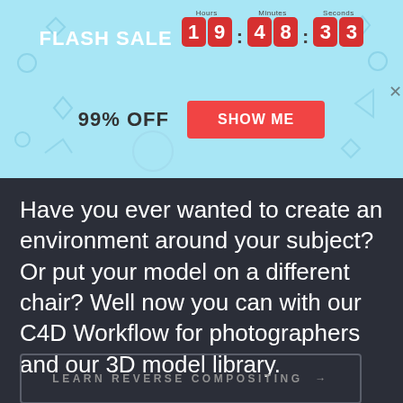[Figure (screenshot): Flash sale banner with countdown timer showing 19:48:33, 99% OFF label and SHOW ME button on light blue background with geometric decorations]
Have you ever wanted to create an environment around your subject? Or put your model on a different chair? Well now you can with our C4D Workflow for photographers and our 3D model library.
LEARN REVERSE COMPOSITING →
[Figure (photo): Chat icon with notification badge showing 1, and a photo of a woman with sunglasses and hair up]